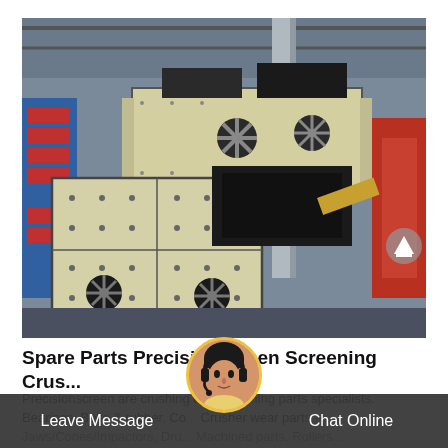[Figure (photo): Industrial vibrating screening machines / crushers stored in a large warehouse/factory floor. Multiple large beige/cream colored vibrating screen units with black structural frames, fan-shaped counterweights, and bolted panel sides. Background shows metal shelving, red/blue crates, and steel structural columns.]
Spare Parts Precisionscreen Screening Crus...
Precisionscreen are crushing and screening parts specialists. Bearings, Belts & rubber, Co... Crusher wear parts – Jaws/Cones/Impactors, Dru... Machined parts, Rollers...
Leave Message   Chat Online